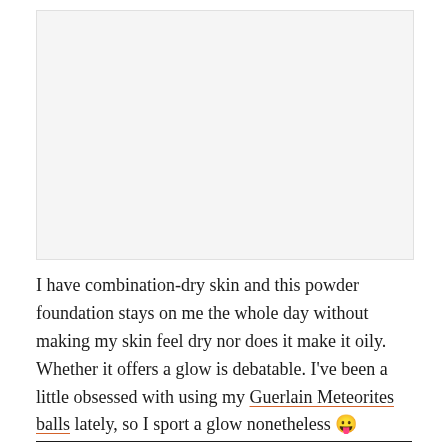[Figure (photo): Placeholder image area, light gray background representing a product or review photo]
I have combination-dry skin and this powder foundation stays on me the whole day without making my skin feel dry nor does it make it oily. Whether it offers a glow is debatable. I've been a little obsessed with using my Guerlain Meteorites balls lately, so I sport a glow nonetheless 😛